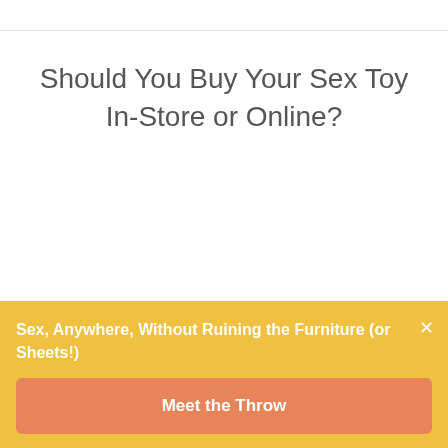Should You Buy Your Sex Toy In-Store or Online?
Sex, Anywhere, Without Ruining the Furniture (or Sheets!)
Meet the Throw